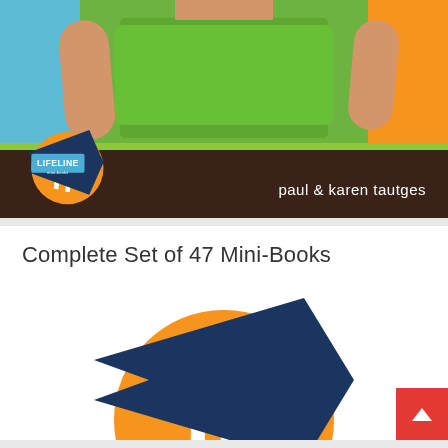[Figure (photo): Book cover for a Lifeline Mini-Books publication by Paul & Karen Tautges, featuring a child in a bright green shirt against blue and orange backgrounds, with the Lifeline Mini-Books logo and the authors' names in white text on a brown bar.]
Complete Set of 47 Mini-Books
[Figure (logo): Lifeline Mini-Books logo — a large circular orange/yellow shape with white stripes, overlaid with a dark blue arrow/bookmark shape pointing left.]